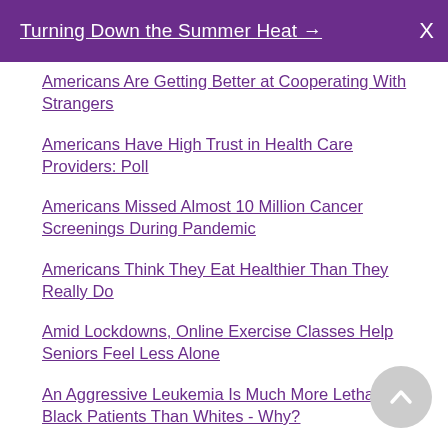Turning Down the Summer Heat →  X
Americans Are Getting Better at Cooperating With Strangers
Americans Have High Trust in Health Care Providers: Poll
Americans Missed Almost 10 Million Cancer Screenings During Pandemic
Americans Think They Eat Healthier Than They Really Do
Amid Lockdowns, Online Exercise Classes Help Seniors Feel Less Alone
An Aggressive Leukemia Is Much More Lethal for Black Patients Than Whites - Why?
An Expert's Guide to Keeping Bad Dreams at Bay
Another Reason Why Cats Go Wild for Catnip
Anxious? Maybe You Can Exercise It Away